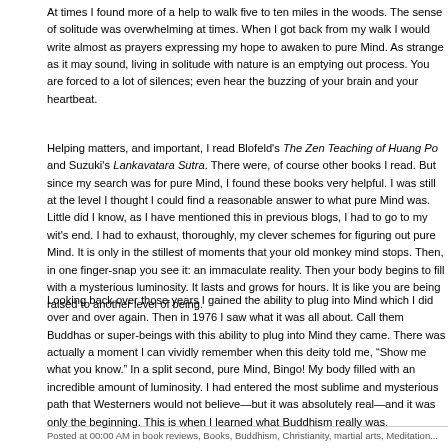At times I found more of a help to walk five to ten miles in the woods. The sense of solitude was overwhelming at times. When I got back from my walk I would write almost as prayers expressing my hope to awaken to pure Mind. As strange as it may sound, living in solitude with nature is an emptying out process. You are forced to a lot of silences; even hear the buzzing of your brain and your heartbeat.
Helping matters, and important, I read Blofeld's The Zen Teaching of Huang Po and Suzuki's Lankavatara Sutra. There were, of course other books I read. But since my search was for pure Mind, I found these books very helpful. I was still at the level I thought I could find a reasonable answer to what pure Mind was. Little did I know, as I have mentioned this in previous blogs, I had to go to my wit's end. I had to exhaust, thoroughly, my clever schemes for figuring out pure Mind. It is only in the stillest of moments that your old monkey mind stops. Then, in one finger-snap you see it: an immaculate reality. Then your body begins to fill with a mysterious luminosity. It lasts and grows for hours. It is like you are being raised to another level of being.
Looking back over those years I gained the ability to plug into Mind which I did over and over again. Then in 1976 I saw what it was all about. Call them Buddhas or super-beings with this ability to plug into Mind they came. There was actually a moment I can vividly remember when this deity told me, "Show me what you know." In a split second, pure Mind, Bingo! My body filled with an incredible amount of luminosity. I had entered the most sublime and mysterious path that Westerners would not believe—but it was absolutely real—and it was only the beginning. This is when I learned what Buddhism really was.
Posted at 00:00 AM in book reviews, Books, Buddhism, Christianity, martial arts, Meditation...